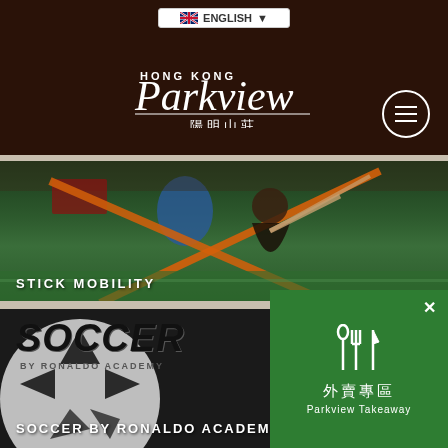HONG KONG Parkview 陽明山莊
ENGLISH (language selector)
[Figure (photo): Person performing stick mobility exercise on a green turf floor, using orange resistance bands and a stick, in an indoor sports gym setting]
STICK MOBILITY
[Figure (photo): Soccer promotional image showing large text SOCCER BY RONALDO ACADEMY on a soccer ball background with a player in red kit]
SOCCER BY RONALDO ACADEMY
[Figure (infographic): Green takeaway popup widget showing fork and spoon icon with Chinese text 外賣專區 and English text Parkview Takeaway, with X close button]